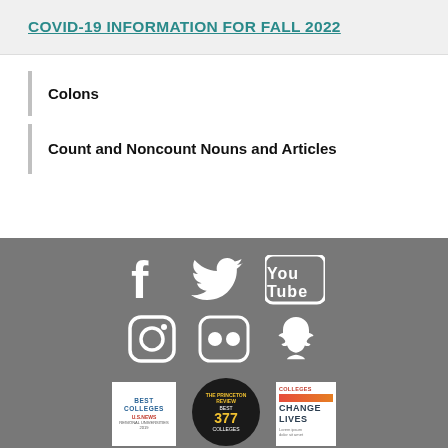COVID-19 INFORMATION FOR FALL 2022
Colons
Count and Noncount Nouns and Articles
[Figure (infographic): Social media icons on gray footer: Facebook, Twitter, YouTube, Instagram, Flickr, Snapchat, and three college ranking badges below]
[Figure (infographic): Three college ranking badges: US News Best Colleges, Princeton Review Best 377 Colleges, Colleges That Change Lives]